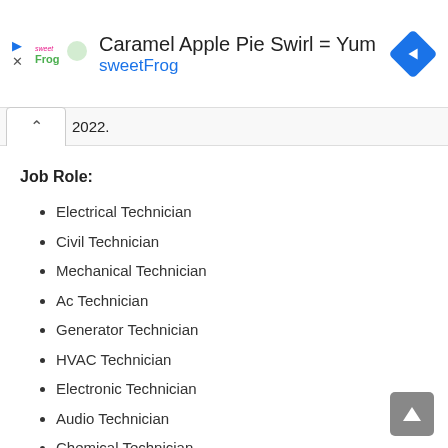[Figure (screenshot): Ad banner for sweetFrog: 'Caramel Apple Pie Swirl = Yum' with sweetFrog logo, blue navigation icon, play and close controls]
2022.
Job Role:
Electrical Technician
Civil Technician
Mechanical Technician
Ac Technician
Generator Technician
HVAC Technician
Electronic Technician
Audio Technician
Chemical Technician